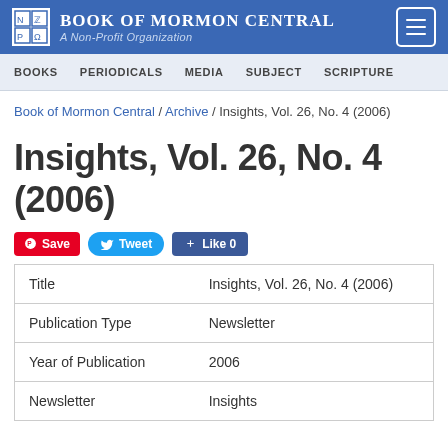Book of Mormon Central — A Non-Profit Organization
BOOKS   PERIODICALS   MEDIA   SUBJECT   SCRIPTURE
Book of Mormon Central / Archive / Insights, Vol. 26, No. 4 (2006)
Insights, Vol. 26, No. 4 (2006)
Save   Tweet   Like 0
| Title | Insights, Vol. 26, No. 4 (2006) |
| Publication Type | Newsletter |
| Year of Publication | 2006 |
| Newsletter | Insights |